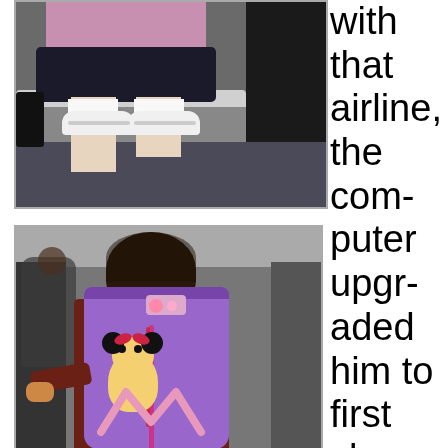[Figure (photo): Photo of a person sitting on a bench/seat, visible from the waist down, wearing dark shorts and white sneakers with white socks. Dark carpet floor visible. Luggage partially visible on the left.]
[Figure (photo): Photo of a person from behind wearing a maroon/brown shirt and carrying a purple Minnie Mouse backpack. The backpack has a Minnie Mouse graphic and an M shape on it. They appear to be on an escalator or in an airport/transit area.]
with that airline, the computer upgraded him to first class. He wanted to sit next to R